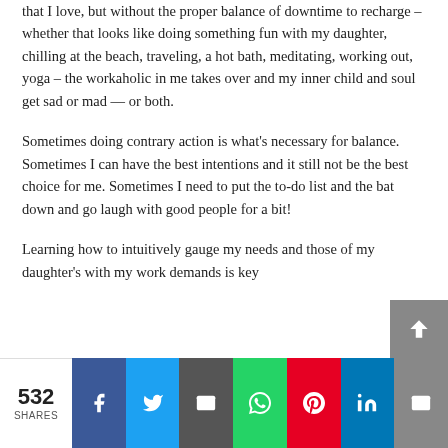that I love, but without the proper balance of downtime to recharge – whether that looks like doing something fun with my daughter, chilling at the beach, traveling, a hot bath, meditating, working out, yoga – the workaholic in me takes over and my inner child and soul get sad or mad — or both.
Sometimes doing contrary action is what's necessary for balance. Sometimes I can have the best intentions and it still not be the best choice for me. Sometimes I need to put the to-do list and the bat down and go laugh with good people for a bit!
Learning how to intuitively gauge my needs and those of my daughter's with my work demands is key
532 SHARES | Facebook | Twitter | Email | WhatsApp | Pinterest | LinkedIn | Envelope